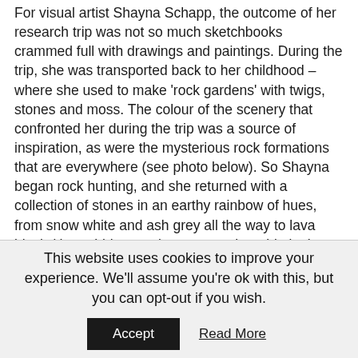For visual artist Shayna Schapp, the outcome of her research trip was not so much sketchbooks crammed full with drawings and paintings. During the trip, she was transported back to her childhood – where she used to make 'rock gardens' with twigs, stones and moss. The colour of the scenery that confronted her during the trip was a source of inspiration, as were the mysterious rock formations that are everywhere (see photo below). So Shayna began rock hunting, and she returned with a collection of stones in an earthy rainbow of hues, from snow white and ash grey all the way to lava black (the pebbles can be seen on the table in the photo above left). During the time it took to tell her story, the stones were presented one by one. Shayna was constantly playing with the pebbles, rearranging them, as if they pieces in a board
This website uses cookies to improve your experience. We'll assume you're ok with this, but you can opt-out if you wish. Accept Read More